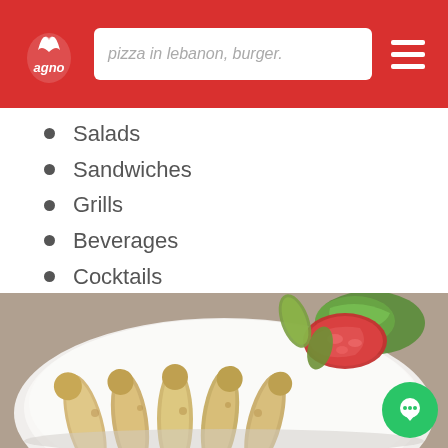pizza in lebanon, burger.
Salads
Sandwiches
Grills
Beverages
Cocktails
Plates des Jour
And more....
[Figure (photo): A white plate with several rolled food items (wraps/spring rolls), garnished with a sliced tomato, green lettuce leaves, and pickled gherkins.]